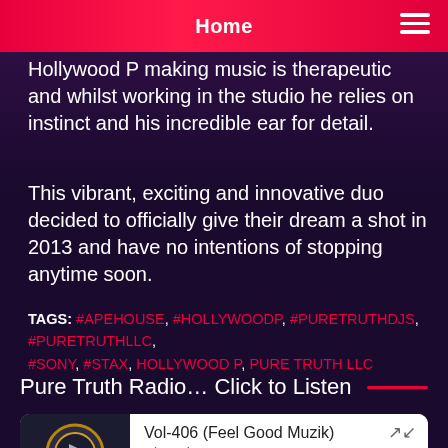Home
Hollywood P making music is therapeutic and whilst working in the studio he relies on instinct and his incredible ear for detail.
This vibrant, exciting and innovative duo decided to officially give their dream a shot in 2013 and have no intentions of stopping anytime soon.
TAGS: #APEHOUSE, #HOLLYWOODP, #PURETRUTHDJS, #PURETRUTHLLC, #SONY, #STAX, HOLLYWOOD P, PURE TRUTH LLC
Pure Truth Radio… Click to Listen
Vol-406 (Feel Good Muzik)
Dj G-Nice